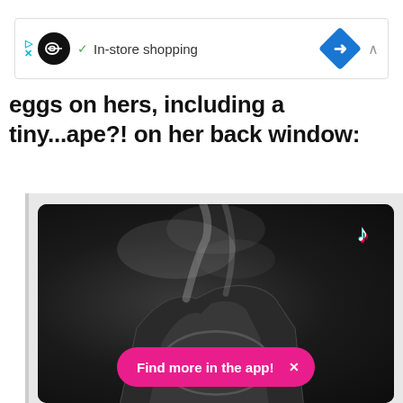[Figure (screenshot): Ad banner with infinity loop logo, checkmark, 'In-store shopping' text, blue diamond navigation icon, and chevron]
eggs on hers, including a tiny...ape?! on her back window:
[Figure (screenshot): TikTok embedded video showing a dark smoky close-up of a sculptural object with 'CIAO BABY' embossed text and a pink 'Find more in the app!' CTA button with X dismiss button]